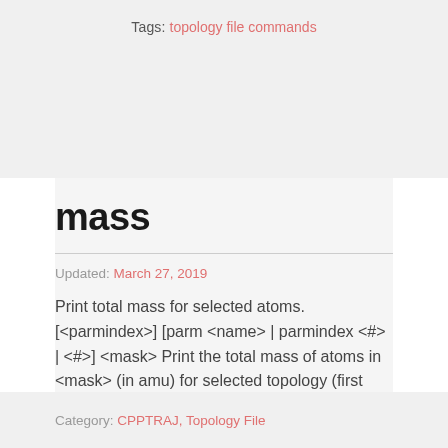Tags: topology file commands
mass
Updated: March 27, 2019
Print total mass for selected atoms. [<parmindex>] [parm <name> | parmindex <#> | <#>] <mask> Print the total mass of atoms in <mask> (in amu) for selected topology (first loaded topology by default).
Category: CPPTRAJ, Topology File